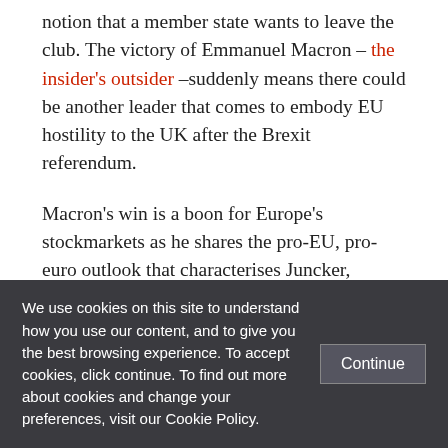notion that a member state wants to leave the club. The victory of Emmanuel Macron – the insider's outsider –suddenly means there could be another leader that comes to embody EU hostility to the UK after the Brexit referendum.

Macron's win is a boon for Europe's stockmarkets as he shares the pro-EU, pro-euro outlook that characterises Juncker,
We use cookies on this site to understand how you use our content, and to give you the best browsing experience. To accept cookies, click continue. To find out more about cookies and change your preferences, visit our Cookie Policy.